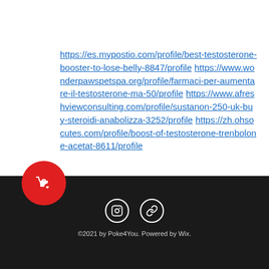https://es.mypostio.com/profile/best-testosterone-booster-to-lose-belly-8847/profile https://www.wonderpawspetspa.org/profile/farmaci-per-aumentare-il-testosterone-ma-50/profile https://www.afreshviewconsulting.com/profile/sustanon-250-uk-buy-steroidi-anabolizza-3252/profile https://zh.ohsocutes.com/profile/boost-of-testosterone-trenbolone-acetat-8611/profile
[Figure (logo): Red circular badge with white shopping bag and heart icon]
[Figure (infographic): Dark footer bar with Instagram and link icons in white circles]
©2021 by Poke4You. Powered by Wix.